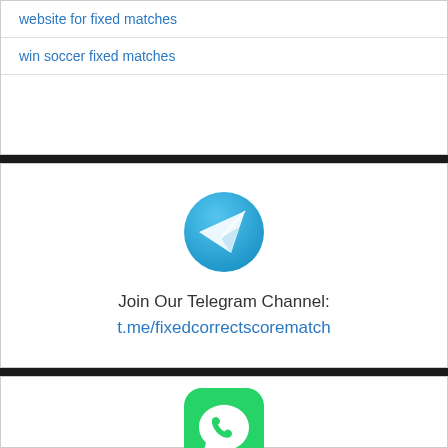website for fixed matches
win soccer fixed matches
[Figure (logo): Telegram app logo — blue circle with white paper plane icon]
Join Our Telegram Channel:
t.me/fixedcorrectscorematch
[Figure (logo): WhatsApp app logo — green rounded square with white phone handset in speech bubble]
Contact us on WhatsApp:
+1 (585) 326 0372